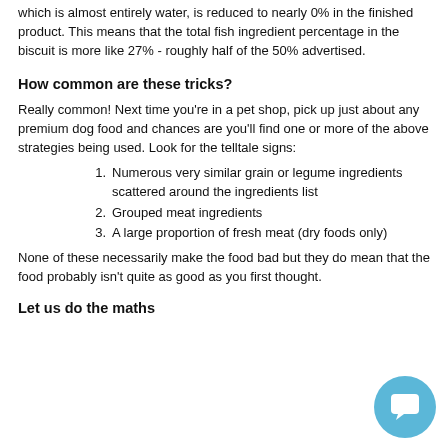which is almost entirely water, is reduced to nearly 0% in the finished product. This means that the total fish ingredient percentage in the biscuit is more like 27% - roughly half of the 50% advertised.
How common are these tricks?
Really common! Next time you're in a pet shop, pick up just about any premium dog food and chances are you'll find one or more of the above strategies being used. Look for the telltale signs:
Numerous very similar grain or legume ingredients scattered around the ingredients list
Grouped meat ingredients
A large proportion of fresh meat (dry foods only)
None of these necessarily make the food bad but they do mean that the food probably isn't quite as good as you first thought.
Let us do the maths